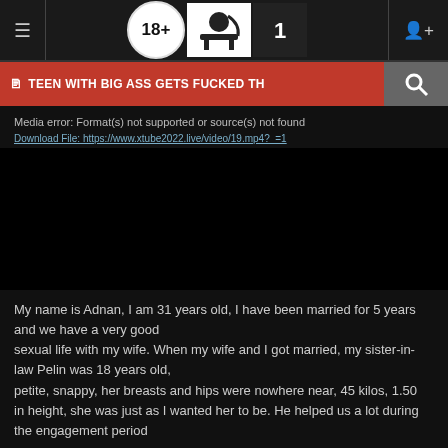≡  18+ [logo icons] 1  [user icon]
🖹 TEEN WITH BIG ASS GETS FUCKED TH [search icon]
Media error: Format(s) not supported or source(s) not found
Download File: https://www.xtube2022.live/video/19.mp4?_=1
[Figure (other): Black video player placeholder area]
My name is Adnan, I am 31 years old, I have been married for 5 years and we have a very good sexual life with my wife. When my wife and I got married, my sister-in-law Pelin was 18 years old, petite, snappy, her breasts and hips were nowhere near, 45 kilos, 1.50 in height, she was just as I wanted her to be. He helped us a lot during the engagement period